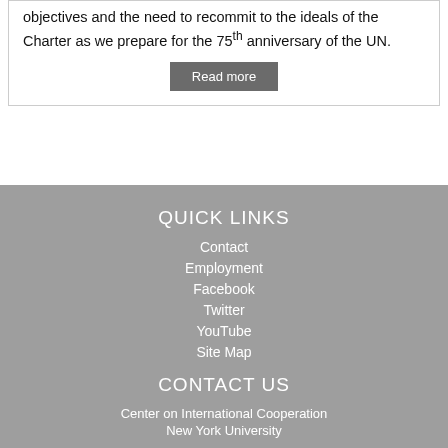objectives and the need to recommit to the ideals of the Charter as we prepare for the 75th anniversary of the UN.
Read more
QUICK LINKS
Contact
Employment
Facebook
Twitter
YouTube
Site Map
CONTACT US
Center on International Cooperation
New York University